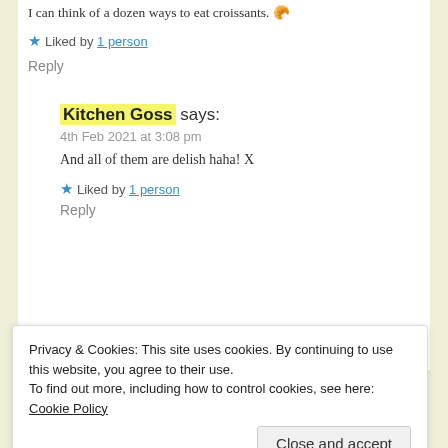I can think of a dozen ways to eat croissants. 🥐
★ Liked by 1 person
Reply
Kitchen Goss says:
4th Feb 2021 at 3:08 pm
And all of them are delish haha! X
★ Liked by 1 person
Reply
Privacy & Cookies: This site uses cookies. By continuing to use this website, you agree to their use. To find out more, including how to control cookies, see here: Cookie Policy
Close and accept